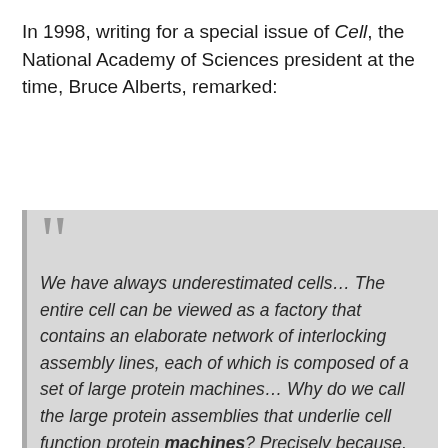In 1998, writing for a special issue of Cell, the National Academy of Sciences president at the time, Bruce Alberts, remarked:
We have always underestimated cells… The entire cell can be viewed as a factory that contains an elaborate network of interlocking assembly lines, each of which is composed of a set of large protein machines… Why do we call the large protein assemblies that underlie cell function protein machines? Precisely because, like machines invented by humans to deal efficiently with the macroscopic world, these protein assemblies contain highly coordinated moving parts. [Emphasis in the original.]